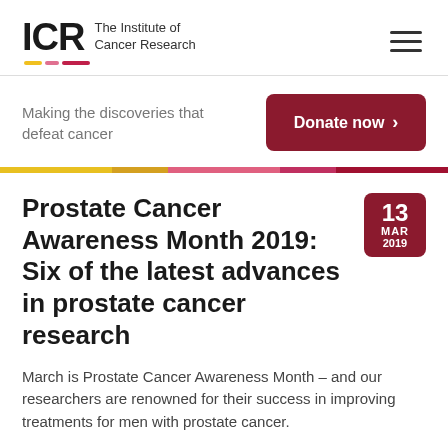ICR The Institute of Cancer Research
Making the discoveries that defeat cancer
Donate now >
Prostate Cancer Awareness Month 2019: Six of the latest advances in prostate cancer research
13 MAR 2019
March is Prostate Cancer Awareness Month – and our researchers are renowned for their success in improving treatments for men with prostate cancer.